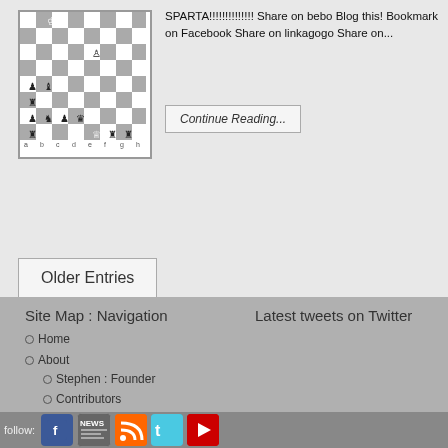[Figure (other): Chess board diagram showing a game position with pieces on various squares]
SPARTA!!!!!!!!!!!!!! Share on bebo Blog this! Bookmark on Facebook Share on linkagogo Share on...
Continue Reading...
Older Entries
Site Map : Navigation
Latest tweets on Twitter
Home
About
Stephen : Founder
Contributors
Shop
Chess Booklets
follow: [facebook] [news] [rss] [twitter] [youtube]